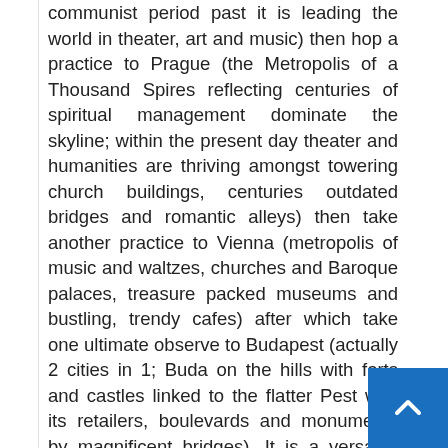communist period past it is leading the world in theater, art and music) then hop a practice to Prague (the Metropolis of a Thousand Spires reflecting centuries of spiritual management dominate the skyline; within the present day theater and humanities are thriving amongst towering church buildings, centuries outdated bridges and romantic alleys) then take another practice to Vienna (metropolis of music and waltzes, churches and Baroque palaces, treasure packed museums and bustling, trendy cafes) after which take one ultimate observe to Budapest (actually 2 cities in 1; Buda on the hills with forts and castles linked to the flatter Pest with its retailers, boulevards and monuments by magnificent bridges). It is a versatile trip bundle. Choose your number of nights in every metropolis, desired hotel and actions.
Unknown to most, Madagascar has a number of the best seashores inside the Indian Ocean. Try No...